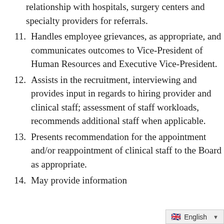relationship with hospitals, surgery centers and specialty providers for referrals.
11. Handles employee grievances, as appropriate, and communicates outcomes to Vice-President of Human Resources and Executive Vice-President.
12. Assists in the recruitment, interviewing and provides input in regards to hiring provider and clinical staff; assessment of staff workloads, recommends additional staff when applicable.
13. Presents recommendation for the appointment and/or reappointment of clinical staff to the Board as appropriate.
14. May provide information...